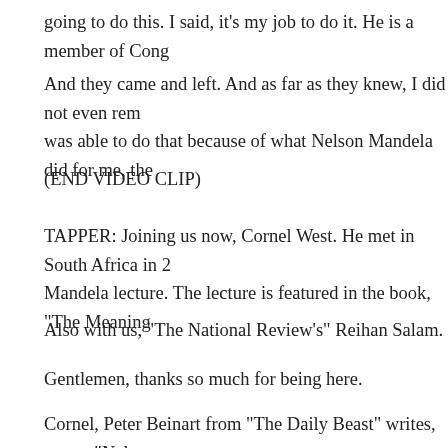going to do this. I said, it's my job to do it. He is a member of Cong
And they came and left. And as far as they knew, I did not even rem was able to do that because of what Nelson Mandela did for me, the
(END VIDEO CLIP)
TAPPER: Joining us now, Cornel West. He met in South Africa in 2 Mandela lecture. The lecture is featured in the book, "The Meaning
Also with us, "The National Review's" Reihan Salam.
Gentlemen, thanks so much for being here.
Cornel, Peter Beinart from "The Daily Beast" writes, quote, "Nelso across the ideological spectrum as a saint. But not long ago, in Was